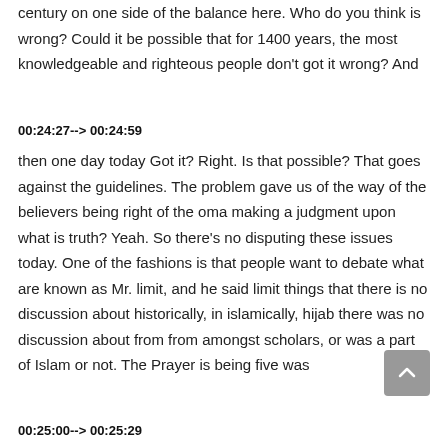century on one side of the balance here. Who do you think is wrong? Could it be possible that for 1400 years, the most knowledgeable and righteous people don't got it wrong? And
00:24:27--> 00:24:59
then one day today Got it? Right. Is that possible? That goes against the guidelines. The problem gave us of the way of the believers being right of the oma making a judgment upon what is truth? Yeah. So there's no disputing these issues today. One of the fashions is that people want to debate what are known as Mr. limit, and he said limit things that there is no discussion about historically, in islamically, hijab there was no discussion about from from amongst scholars, or was a part of Islam or not. The Prayer is being five was
00:25:00--> 00:25:29